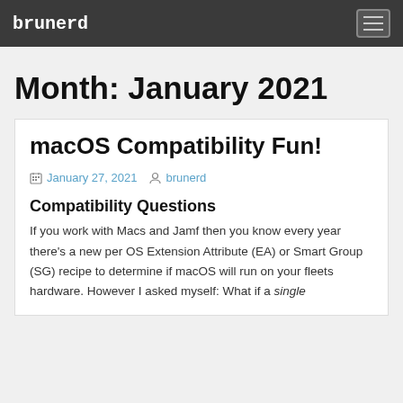brunerd
Month: January 2021
macOS Compatibility Fun!
January 27, 2021 brunerd
Compatibility Questions
If you work with Macs and Jamf then you know every year there's a new per OS Extension Attribute (EA) or Smart Group (SG) recipe to determine if macOS will run on your fleets hardware. However I asked myself: What if a single